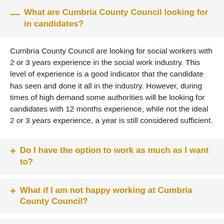— What are Cumbria County Council looking for in candidates?
Cumbria County Council are looking for social workers with 2 or 3 years experience in the social work industry. This level of experience is a good indicator that the candidate has seen and done it all in the industry. However, during times of high demand some authorities will be looking for candidates with 12 months experience, while not the ideal 2 or 3 years experience, a year is still considered sufficient.
+ Do I have the option to work as much as I want to?
+ What if I am not happy working at Cumbria County Council?
+ What kind of support does Pertemps Recruit...